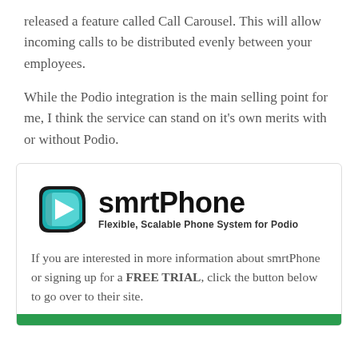released a feature called Call Carousel. This will allow incoming calls to be distributed evenly between your employees.
While the Podio integration is the main selling point for me, I think the service can stand on it's own merits with or without Podio.
[Figure (logo): smrtPhone logo — a blue/teal play-button icon on the left, then bold text 'smrtPhone' with tagline 'Flexible, Scalable Phone System for Podio']
If you are interested in more information about smrtPhone or signing up for a FREE TRIAL, click the button below to go over to their site.